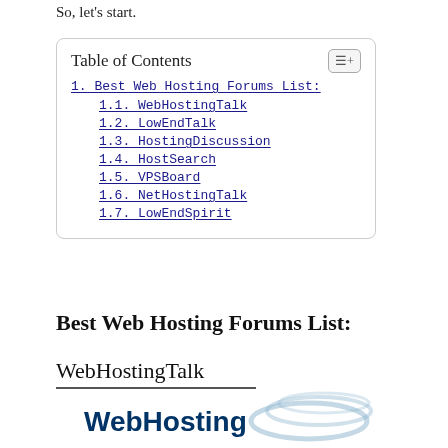So, let's start.
| Table of Contents |
| --- |
| 1. Best Web Hosting Forums List: |
| 1.1. WebHostingTalk |
| 1.2. LowEndTalk |
| 1.3. HostingDiscussion |
| 1.4. HostSearch |
| 1.5. VPSBoard |
| 1.6. NetHostingTalk |
| 1.7. LowEndSpirit |
Best Web Hosting Forums List:
WebHostingTalk
[Figure (logo): WebHosting logo with swoosh graphic in blue]